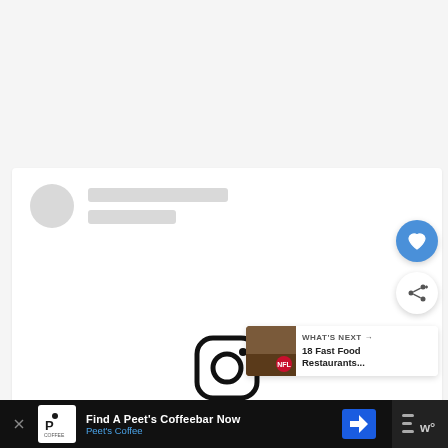[Figure (screenshot): Top gray area — loading/placeholder region of a web page, light gray background]
[Figure (screenshot): Social media card with skeleton loader: circular avatar placeholder and two gray skeleton lines for username/handle. Below, empty white card body. Instagram logo icon partially visible at bottom of card.]
[Figure (screenshot): Floating action button (heart/like icon) — blue circle with white heart]
[Figure (screenshot): Floating action button (share icon) — white circle with share icon]
[Figure (screenshot): What's Next banner: thumbnail of food/restaurant image with NFL logo badge, text 'WHAT'S NEXT → 18 Fast Food Restaurants...']
[Figure (screenshot): Advertisement banner at bottom: Peet's Coffee ad — 'Find A Peet's Coffeebar Now / Peet's Coffee', with blue navigation arrow icon and W° app nav icon on right]